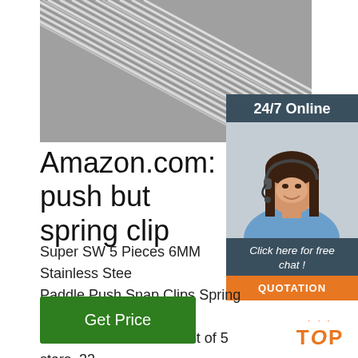[Figure (photo): Close-up photo of metallic spring clips or wires arranged diagonally, showing stainless steel springs/clips texture]
[Figure (photo): 24/7 Online customer service sidebar with a smiling woman wearing a headset, dark teal header saying '24/7 Online', chat button, and orange QUOTATION button]
Amazon.com: push but spring clip
Super SW 5 Pieces 6MM Stainless Steel Paddle Push Snap Clips Spring Clips Fit Paddle Tent Pole. 4.5 out of 5 stars. 33. $11. . 99. Get it as soon as Wed, Jul 7. FREE Shipping on orders over $25 shipped by Amazon.
[Figure (other): Green 'Get Price' button]
[Figure (logo): Orange TOP badge with dots above]